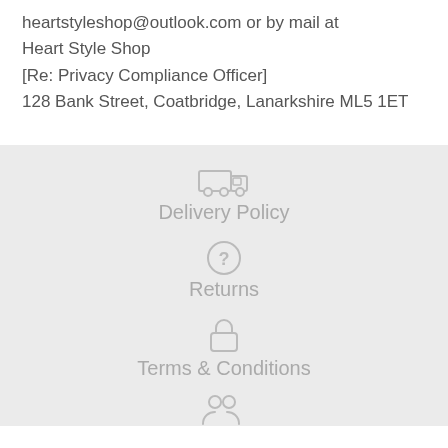heartstyleshop@outlook.com or by mail at Heart Style Shop [Re: Privacy Compliance Officer] 128 Bank Street, Coatbridge, Lanarkshire ML5 1ET
Delivery Policy
Returns
Terms & Conditions